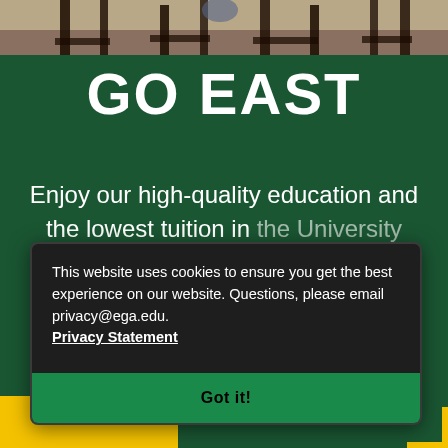[Figure (photo): Top photo strip showing chair legs and students in background, outdoor campus setting]
GO EAST
Enjoy our high-quality education and the lowest tuition in the University System of Georgia.
This website uses cookies to ensure you get the best experience on our website. Questions, please email privacy@ega.edu. Privacy Statement
Got it!